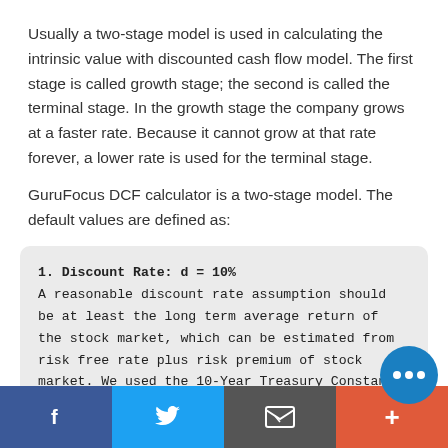Usually a two-stage model is used in calculating the intrinsic value with discounted cash flow model. The first stage is called growth stage; the second is called the terminal stage. In the growth stage the company grows at a faster rate. Because it cannot grow at that rate forever, a lower rate is used for the terminal stage.
GuruFocus DCF calculator is a two-stage model. The default values are defined as:
1. Discount Rate: d = 10%
A reasonable discount rate assumption should be at least the long term average return of the stock market, which can be estimated from risk free rate plus risk premium of stock market. We used the 10-Year Treasury Constant Maturity Rate as the risk free rate and rounded up to the nearest integer, then added a risk premium of 6% to get the estimated
Facebook | Twitter | Email | Plus